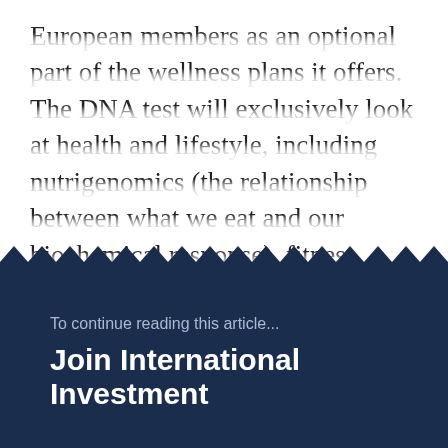European members as an optional part of the wellness plans it offers. The DNA test will exclusively look at health and lifestyle, including nutrigenomics (the relationship between what we eat and our biochemical response), fitness, sleep and stress. The goal is to support members who want to take control of their health, using personalised information to spark actionable lifestyle changes. ©
To continue reading this article...
Join International Investment